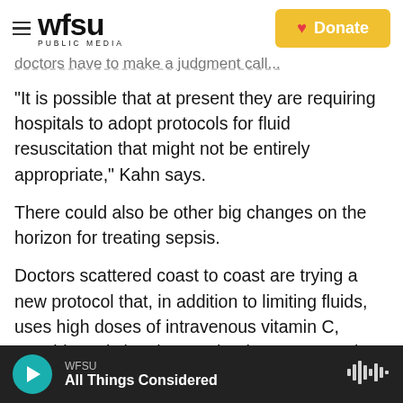WFSU PUBLIC MEDIA — Donate
doctors have to make a judgment call...
"It is possible that at present they are requiring hospitals to adopt protocols for fluid resuscitation that might not be entirely appropriate," Kahn says.
There could also be other big changes on the horizon for treating sepsis.
Doctors scattered coast to coast are trying a new protocol that, in addition to limiting fluids, uses high doses of intravenous vitamin C, steroids and vitamin B1. That has generated a great deal of enthusiasm and some startling claims of success,
WFSU — All Things Considered